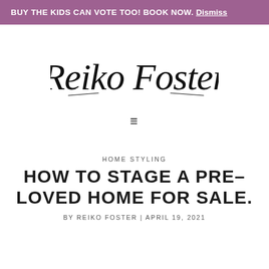BUY THE KIDS CAN VOTE TOO! BOOK NOW. Dismiss
[Figure (logo): Reiko Foster handwritten script logo]
≡
HOME STYLING
HOW TO STAGE A PRE-LOVED HOME FOR SALE.
BY REIKO FOSTER | APRIL 19, 2021